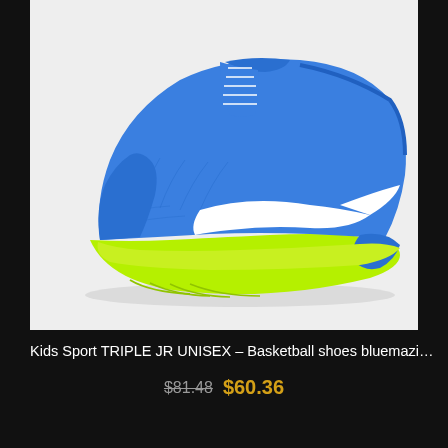[Figure (photo): Blue and neon green/yellow Puma kids basketball shoe (Triple JR Unisex) shown from the side on a light gray background. The shoe features a royal blue upper with mesh texture, a white Puma swoosh logo on the side, and a bright neon green/lime sole.]
Kids Sport TRIPLE JR UNISEX – Basketball shoes bluemazing/gre...
$81.48 $60.36